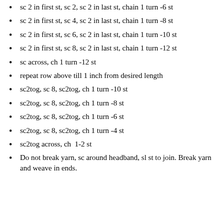sc 2 in first st, sc 2, sc 2 in last st, chain 1 turn -6 st
sc 2 in first st, sc 4, sc 2 in last st, chain 1 turn -8 st
sc 2 in first st, sc 6, sc 2 in last st, chain 1 turn -10 st
sc 2 in first st, sc 8, sc 2 in last st, chain 1 turn -12 st
sc across, ch 1 turn -12 st
repeat row above till 1 inch from desired length
sc2tog, sc 8, sc2tog, ch 1 turn -10 st
sc2tog, sc 8, sc2tog, ch 1 turn -8 st
sc2tog, sc 8, sc2tog, ch 1 turn -6 st
sc2tog, sc 8, sc2tog, ch 1 turn -4 st
sc2tog across, ch  1-2 st
Do not break yarn, sc around headband, sl st to join. Break yarn and weave in ends.